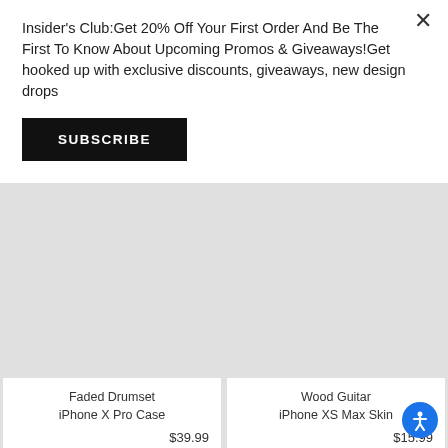Insider's Club:Get 20% Off Your First Order And Be The First To Know About Upcoming Promos & Giveaways!Get hooked up with exclusive discounts, giveaways, new design drops
SUBSCRIBE
Faded Drumset
iPhone X Pro Case
$39.99
Wood Guitar
iPhone XS Max Skin
$15.99
[Figure (photo): Phone case with 'Music is Freedom' design on blue-green gradient background]
[Figure (photo): Phone case with 'NO MUSIC. NO LIFE.' text design, black and white]